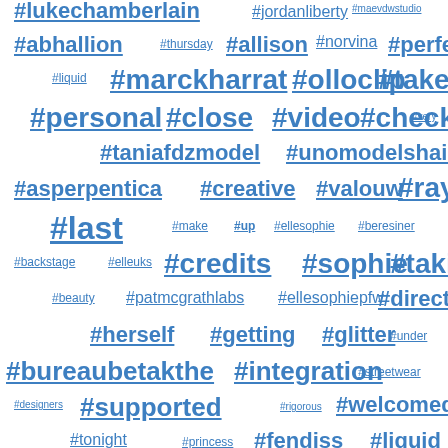[Figure (infographic): Tag cloud / word cloud of hashtags in various font sizes, all in blue with underline, on a white background. Tags include: #lukechamberlain, #jordanliberty, #maevdwstudio, #abhallion, #thursday, #allison, #norvina, #perfect, #liquid, #marckharrat, #olloclip, #takeover, #personal, #close, #video, #check, #very, #taniafdzmodel, #unomodelshair, #asperpentica, #creative, #valouw, #rays, #last, #make, #up, #ellesophie, #beresiner, #backstage, #elleuks, #credits, #sophie, #taking, #beauty, #patmcgrathlabs, #ellesophiepfw, #direction, #herself, #getting, #glitter, #under, #bureaubetakthe, #integration, #streetwear, #designers, #supported, #rigorous, #welcomed, #tonight, #princess, #fendiss, #liquid, #poufy, #vibes, #black, #pink, #embellishments, #billyundhells, #multicoloured, #diamondshaped, #incorporating, #eradefining, #gemstones, #cabochon, #monarchs, #medieval, #romanticism, #cinching, #enhances, #flowing, #new, #blue, #gown, #ethereal]